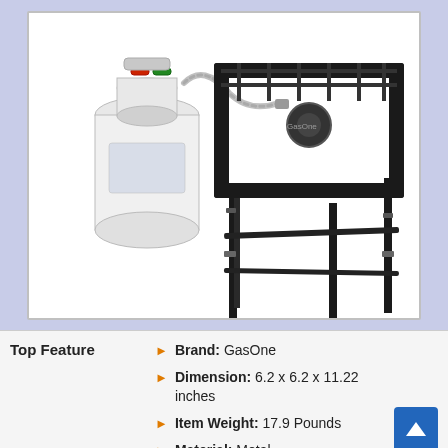[Figure (photo): Photo of a GasOne propane single-burner camping stove on tall black metal legs, connected via hose to a white propane tank with red and green valve knobs. Background is light periwinkle/lavender.]
Top Feature
Brand: GasOne
Dimension: 6.2 x 6.2 x 11.22 inches
Item Weight: 17.9 Pounds
Material: Metal